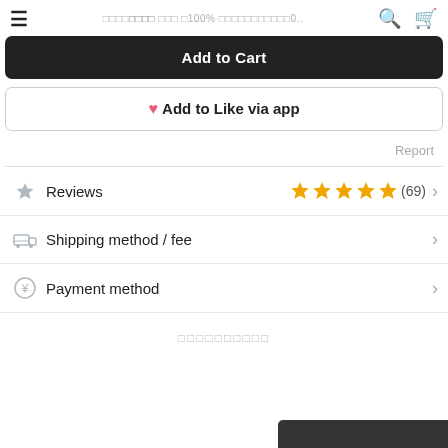□□□□□□□□ □□□ □100% □□□□□□□□□□□0..
Add to Cart
♥ Add to Like via app
Report
Reviews  ★★★★★ (69)
Shipping method / fee
Payment method
□□□□□□□□□□